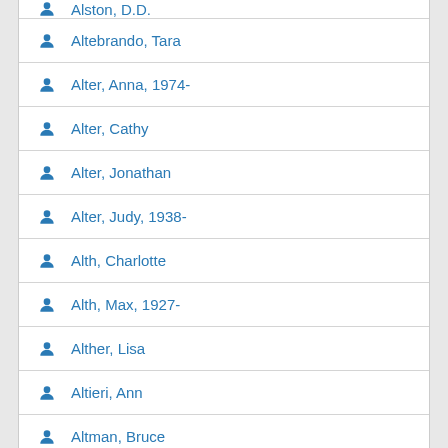Alston, D.D.
Altebrando, Tara
Alter, Anna, 1974-
Alter, Cathy
Alter, Jonathan
Alter, Judy, 1938-
Alth, Charlotte
Alth, Max, 1927-
Alther, Lisa
Altieri, Ann
Altman, Bruce
Altman, John, 1949-